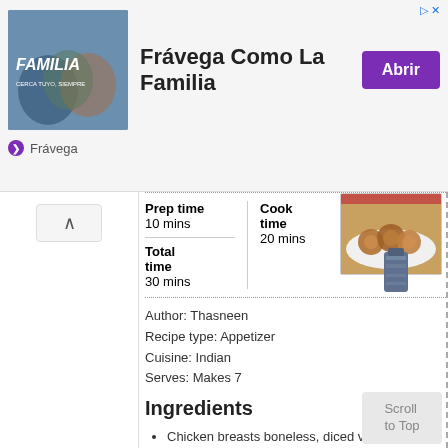[Figure (infographic): Advertisement banner for Frávega Como La Familia with image of people, text, and Abrir button]
Frávega
Prep time
10 mins
Cook time
20 mins
Total time
30 mins
[Figure (photo): Photo of fried chicken appetizers on a white plate]
[Figure (illustration): Spice/seasoning container icon]
Author: Thasneen
Recipe type: Appetizer
Cuisine: Indian
Serves: Makes 7
Ingredients
Chicken breasts boneless, diced very small- 1 chicken breast (or use thighs)
Onion, chopped small- ¼ cup
Ginger-garlic paste- 1 tsp
Green chilies, chopped- 2
Cilantro, chopped- 2 tbsp
Chili powder- 1 tsp
Turmeric powder- ⅛ tsp
Garam masala- ½ tsp